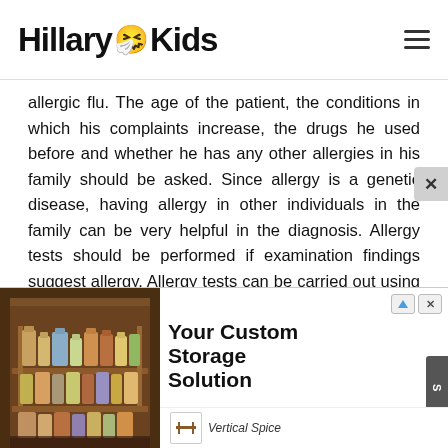Hillary Kids
allergic flu. The age of the patient, the conditions in which his complaints increase, the drugs he used before and whether he has any other allergies in his family should be asked. Since allergy is a genetic disease, having allergy in other individuals in the family can be very helpful in the diagnosis. Allergy tests should be performed if examination findings suggest allergy. Allergy tests can be carried out using skin tests as well as methods of examining blood allergens
[Figure (photo): Advertisement showing kitchen storage shelf organizer with bottles and spices, for Vertical Spice brand]
Your Custom Storage Solution
Vertical Spice